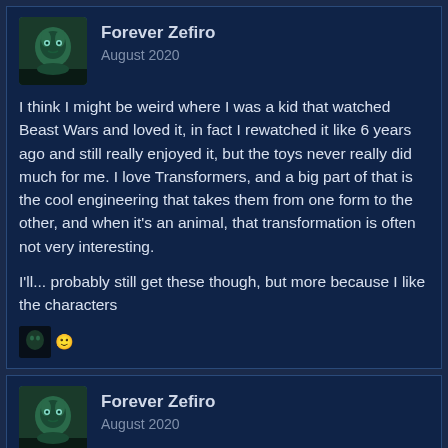Forever Zefiro
August 2020
I think I might be weird where I was a kid that watched Beast Wars and loved it, in fact I rewatched it like 6 years ago and still really enjoyed it, but the toys never really did much for me. I love Transformers, and a big part of that is the cool engineering that takes them from one form to the other, and when it's an animal, that transformation is often not very interesting.
I'll... probably still get these though, but more because I like the characters
Forever Zefiro
August 2020
@Betsuni Shit man I'm sorry about your dad. I personally know that can absolutely be a difficult thing to process and can